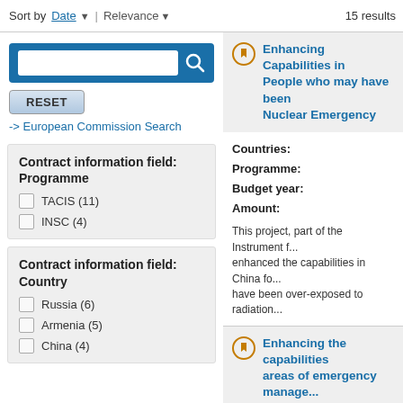Sort by Date | Relevance   15 results
[Figure (screenshot): Search input box with magnifying glass icon on blue background]
RESET
-> European Commission Search
Contract information field: Programme
TACIS (11)
INSC (4)
Contract information field: Country
Russia (6)
Armenia (5)
China (4)
Enhancing Capabilities in People who may have been Nuclear Emergency
Countries:
Programme:
Budget year:
Amount:
This project, part of the Instrument f... enhanced the capabilities in China fo... have been over-exposed to radiation...
Enhancing the capabilities areas of emergency manage...
Countries:
Programme: